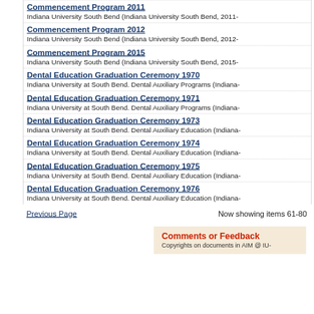Commencement Program 2011
Indiana University South Bend (Indiana University South Bend, 2011-
Commencement Program 2012
Indiana University South Bend (Indiana University South Bend, 2012-
Commencement Program 2015
Indiana University South Bend (Indiana University South Bend, 2015-
Dental Education Graduation Ceremony 1970
Indiana University at South Bend. Dental Auxiliary Programs (Indiana-
Dental Education Graduation Ceremony 1971
Indiana University at South Bend. Dental Auxiliary Programs (Indiana-
Dental Education Graduation Ceremony 1973
Indiana University at South Bend. Dental Auxiliary Education (Indiana-
Dental Education Graduation Ceremony 1974
Indiana University at South Bend. Dental Auxiliary Education (Indiana-
Dental Education Graduation Ceremony 1975
Indiana University at South Bend. Dental Auxiliary Education (Indiana-
Dental Education Graduation Ceremony 1976
Indiana University at South Bend. Dental Auxiliary Education (Indiana-
Previous Page                    Now showing items 61-80
Comments or Feedback
Copyrights on documents in AIM @ IU-